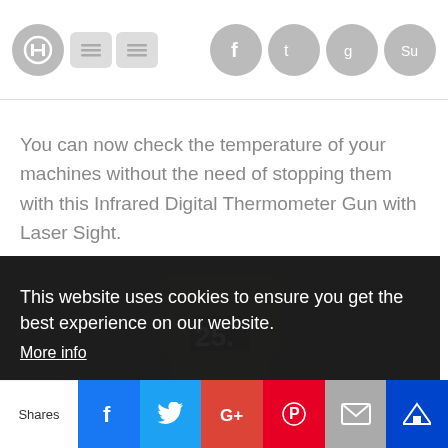[Figure (screenshot): Top navigation bar with social sharing icons: a circular icon with H symbol, two small rectangle buttons, and circular icons for Facebook, Twitter, Google, and StumbleUpon]
You can now check the temperature of your machines without the need of stopping them with this Infrared Digital Thermometer Gun with Laser Sight.
[Figure (screenshot): Cookie consent overlay on dark background showing a photo of a thermometer device. Text: 'This website uses cookies to ensure you get the best experience on our website.' with 'More info' link and 'Got it!' button.]
Shares | Facebook | Twitter | G+ | Pinterest | Email | Crown